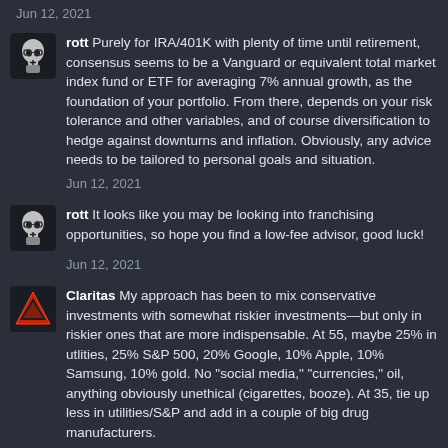Jun 12, 2021
rott Purely for IRA/401K with plenty of time until retirement, consensus seems to be a Vanguard or equivalent total market index fund or ETF for averaging 7% annual growth, as the foundation of your portfolio. From there, depends on your risk tolerance and other variables, and of course diversification to hedge against downturns and inflation. Obviously, any advice needs to be tailored to personal goals and situation.
Jun 12, 2021
rott It looks like you may be looking into franchising opportunities, so hope you find a low-fee advisor, good luck!
Jun 12, 2021
Claritas My approach has been to mix conservative investments with somewhat riskier investments—but only in riskier ones that are more indispensable. At 55, maybe 25% in utlities, 25% S&P 500, 20% Google, 10% Apple, 10% Samsung, 10% gold. No "social media," "currencies," oil, anything obviously unethical (cigarettes, booze). At 35, tie up less in utilities/S&P and add in a couple of big drug manufacturers.
Jun 12, 2021
YMO likes this.